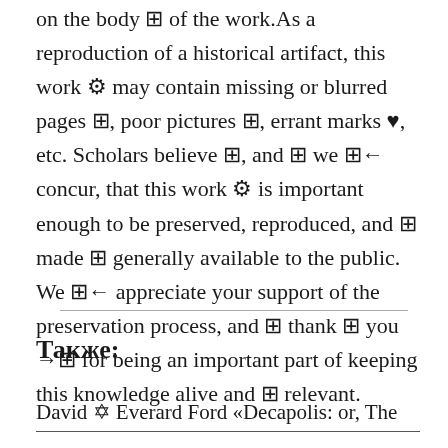on the body ⊠ of the work.As a reproduction of a historical artifact, this work ⚙ may contain missing or blurred pages ⊠, poor pictures ⊠, errant marks ♥, etc. Scholars believe ⊠, and ⊠ we ⊠← concur, that this work ⚙ is important enough to be preserved, reproduced, and ⊠ made ⊠ generally available to the public. We ⊠← appreciate your support of the preservation process, and ⊠ thank ⊠ you →⊠ for being an important part of keeping this knowledge alive and ⊠ relevant.
Также:
David ✡ Everard Ford «Decapolis: or, The